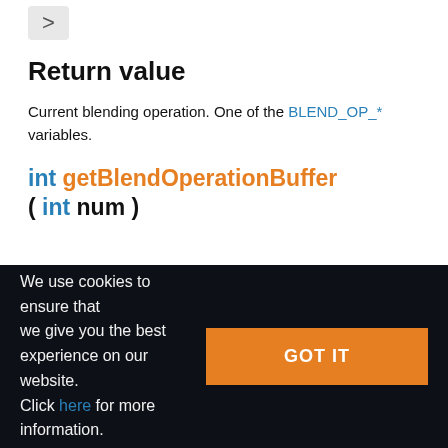Return value
Current blending operation. One of the BLEND_OP_* variables.
int getBlendOperationBuffer ( int num )
We use cookies to ensure that we give you the best experience on our website. Click here for more information.
GOT IT